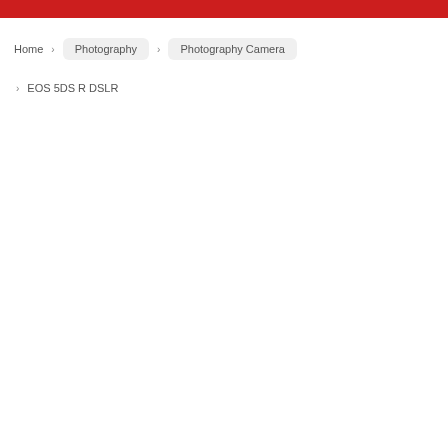Home > Photography > Photography Camera > EOS 5DS R DSLR